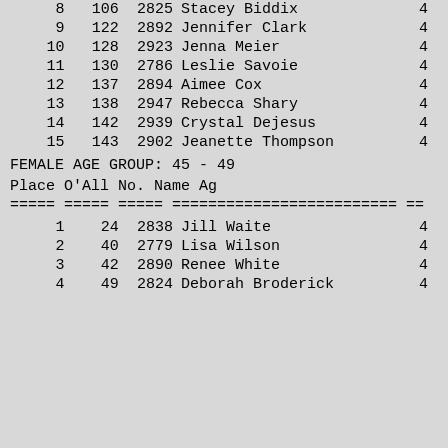| Place | O'All | No. | Name | Ag |
| --- | --- | --- | --- | --- |
| 8 | 106 | 2825 | Stacey Biddix | 4 |
| 9 | 122 | 2892 | Jennifer Clark | 4 |
| 10 | 128 | 2923 | Jenna Meier | 4 |
| 11 | 130 | 2786 | Leslie Savoie | 4 |
| 12 | 137 | 2894 | Aimee Cox | 4 |
| 13 | 138 | 2947 | Rebecca Shary | 4 |
| 14 | 142 | 2939 | Crystal Dejesus | 4 |
| 15 | 143 | 2902 | Jeanette Thompson | 4 |
FEMALE AGE GROUP:  45 - 49
Place O'All No.    Name                       Ag
===== ===== ===== ========================= ==
| Place | O'All | No. | Name | Ag |
| --- | --- | --- | --- | --- |
| 1 | 24 | 2838 | Jill Waite | 4 |
| 2 | 40 | 2779 | Lisa Wilson | 4 |
| 3 | 42 | 2890 | Renee White | 4 |
| 4 | 49 | 2824 | Deborah Broderick | 4 |